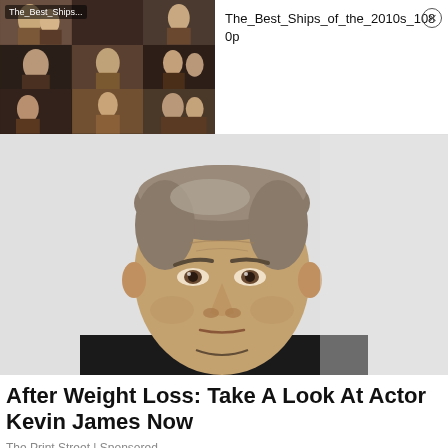[Figure (screenshot): Video thumbnail grid showing 'The_Best_Ships...' with play button overlay and multiple TV/movie scene thumbnails]
The_Best_Ships_of_the_2010s_1080p
[Figure (photo): Photo of actor Kevin James looking sideways against a light gray background, wearing a black shirt]
After Weight Loss: Take A Look At Actor Kevin James Now
The Print Street | Sponsored